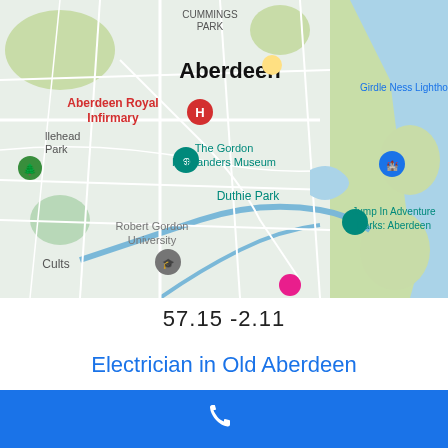[Figure (map): Google Maps screenshot showing Aberdeen, Scotland area. Landmarks include Aberdeen Royal Infirmary (red pin), The Gordon Highlanders Museum (teal pin), Duthie Park, Robert Gordon University, Jump In Adventure Parks: Aberdeen, Girdle Ness Lighthouse, Cummings Park, Cults, and a partially visible pink pin near bottom center. The right side shows the North Sea coastline in blue.]
57.15 -2.11
Electrician in Old Aberdeen
[Figure (other): Blue bar at bottom with white telephone/call icon in center.]